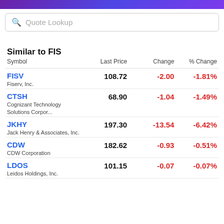Quote Lookup
Similar to FIS
| Symbol | Last Price | Change | % Change |
| --- | --- | --- | --- |
| FISV
Fiserv, Inc. | 108.72 | -2.00 | -1.81% |
| CTSH
Cognizant Technology Solutions Corpor... | 68.90 | -1.04 | -1.49% |
| JKHY
Jack Henry & Associates, Inc. | 197.30 | -13.54 | -6.42% |
| CDW
CDW Corporation | 182.62 | -0.93 | -0.51% |
| LDOS
Leidos Holdings, Inc. | 101.15 | -0.07 | -0.07% |